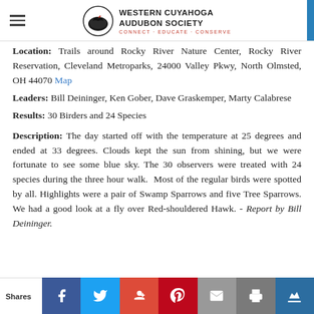Western Cuyahoga Audubon Society — CONNECT · EDUCATE · CONSERVE
Location: Trails around Rocky River Nature Center, Rocky River Reservation, Cleveland Metroparks, 24000 Valley Pkwy, North Olmsted, OH 44070 Map
Leaders: Bill Deininger, Ken Gober, Dave Graskemper, Marty Calabrese
Results: 30 Birders and 24 Species
Description: The day started off with the temperature at 25 degrees and ended at 33 degrees. Clouds kept the sun from shining, but we were fortunate to see some blue sky. The 30 observers were treated with 24 species during the three hour walk. Most of the regular birds were spotted by all. Highlights were a pair of Swamp Sparrows and five Tree Sparrows. We had a good look at a fly over Red-shouldered Hawk. - Report by Bill Deininger.
Shares | Facebook | Twitter | Google+ | Pinterest | Email | Print | Crown